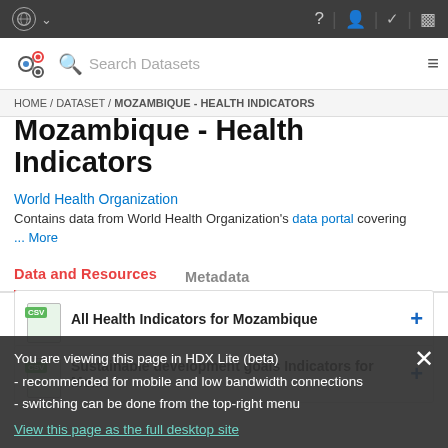UN logo navigation bar with search: Search Datasets
HOME / DATASET / MOZAMBIQUE - HEALTH INDICATORS
Mozambique - Health Indicators
World Health Organization
Contains data from World Health Organization's data portal covering ... More
Data and Resources
Metadata
All Health Indicators for Mozambique
You are viewing this page in HDX Lite (beta)
- recommended for mobile and low bandwidth connections
- switching can be done from the top-right menu
View this page as the full desktop site
Sustainable development goals Indicators for Mo...